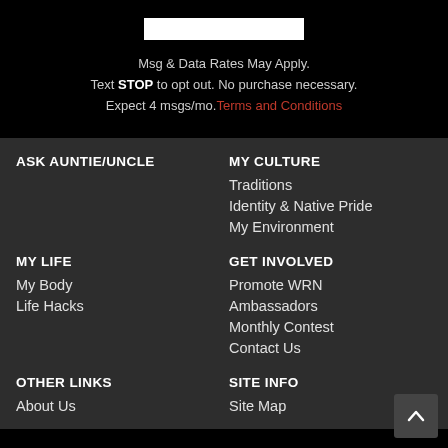Msg & Data Rates May Apply. Text STOP to opt out. No purchase necessary. Expect 4 msgs/mo. Terms and Conditions
ASK AUNTIE/UNCLE
MY CULTURE
Traditions
Identity & Native Pride
My Environment
MY LIFE
My Body
Life Hacks
GET INVOLVED
Promote WRN
Ambassadors
Monthly Contest
Contact Us
OTHER LINKS
About Us
SITE INFO
Site Map